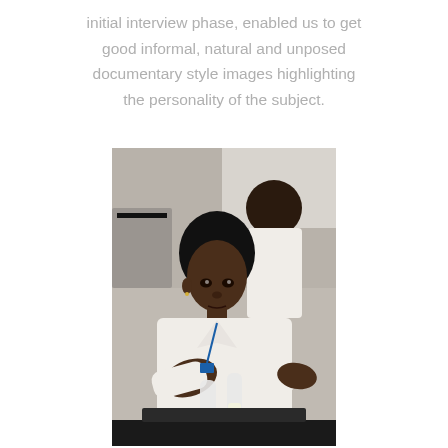initial interview phase, enabled us to get good informal, natural and unposed documentary style images highlighting the personality of the subject.
[Figure (photo): A female laboratory scientist in a white coat focused on handling test tubes or vials at a lab bench, with a male colleague in the background also in a white coat.]